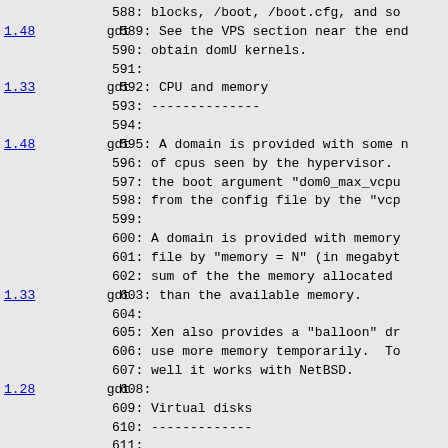588: blocks, /boot, /boot.cfg, and so
1.48  gdt  589: See the VPS section near the end
590: obtain domU kernels.
591:
1.33  gdt  592: CPU and memory
593: --------------
594:
1.48  gdt  595: A domain is provided with some n
596: of cpus seen by the hypervisor.
597: the boot argument "dom0_max_vcpu
598: from the config file by the "vcp
599:
600: A domain is provided with memory
601: file by "memory = N" (in megabyt
602: sum of the the memory allocated
1.33  gdt  603: than the available memory.
604:
605: Xen also provides a "balloon" dr
606: use more memory temporarily.  T
607: well it works with NetBSD.
1.28  gdt  608:
609: Virtual disks
610: -------------
611:
1.33  gdt  612: With the file/vnd style, typical
613: e.g. /u0/xen, on a disk large en
614: domUs.  Then, for each domU disk
615: serves to hold the virtual disk
616: for the first virtual disk for t
617: the file serves two purposes.